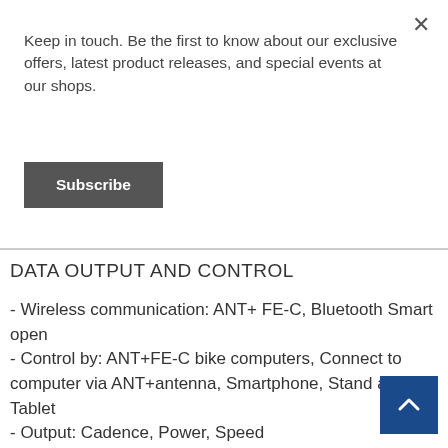Keep in touch. Be the first to know about our exclusive offers, latest product releases, and special events at our shops.
Subscribe
DATA OUTPUT AND CONTROL
- Wireless communication: ANT+ FE-C, Bluetooth Smart open
- Control by: ANT+FE-C bike computers, Connect to computer via ANT+antenna, Smartphone, Stand alone, Tablet
- Output: Cadence, Power, Speed
- Read out on: Bike computer, Computer with ANT+ antenna, Smartphone, Sports watch, Tablet
- Error Tolerance: <1%